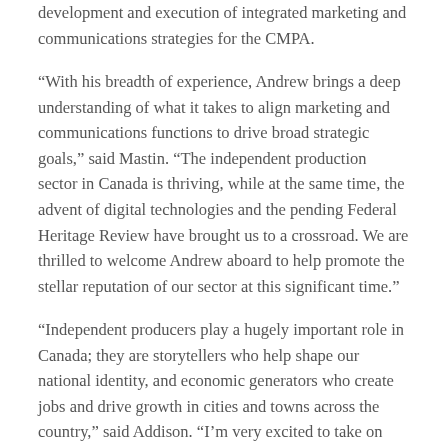development and execution of integrated marketing and communications strategies for the CMPA.
“With his breadth of experience, Andrew brings a deep understanding of what it takes to align marketing and communications functions to drive broad strategic goals,” said Mastin. “The independent production sector in Canada is thriving, while at the same time, the advent of digital technologies and the pending Federal Heritage Review have brought us to a crossroad. We are thrilled to welcome Andrew aboard to help promote the stellar reputation of our sector at this significant time.”
“Independent producers play a hugely important role in Canada; they are storytellers who help shape our national identity, and economic generators who create jobs and drive growth in cities and towns across the country,” said Addison. “I’m very excited to take on this role and look forward to building the profile of our sector, ensuring indie content